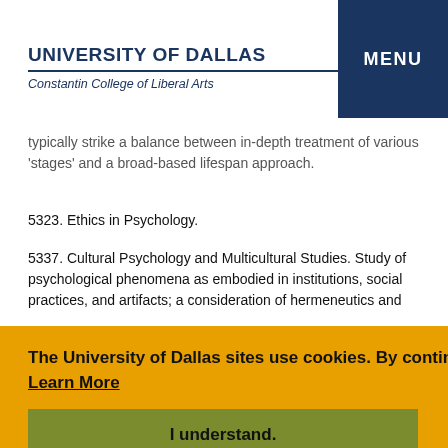UNIVERSITY OF DALLAS
Constantin College of Liberal Arts
typically strike a balance between in-depth treatment of various 'stages' and a broad-based lifespan approach.
5323. Ethics in Psychology.
5337. Cultural Psychology and Multicultural Studies. Study of psychological phenomena as embodied in institutions, social practices, and artifacts; a consideration of hermeneutics and [partially obscured]
The University of Dallas sites use cookies. By continuing to use this site you accept this policy.  Learn More
I understand.
place of religious life in psychological health and illness;